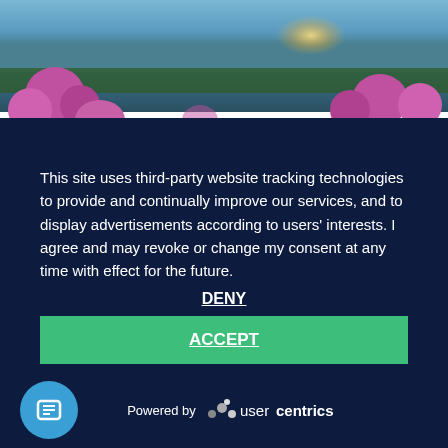[Figure (photo): Photograph of pink flowers and water with sunset light in the background]
This site uses third-party website tracking technologies to provide and continually improve our services, and to display advertisements according to users' interests. I agree and may revoke or change my consent at any time with effect for the future.
DENY
ACCEPT
MORE
Powered by usercentrics